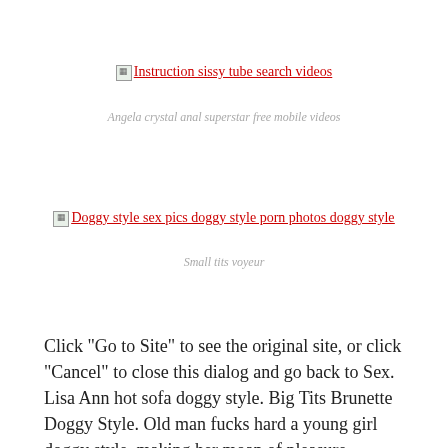[Figure (other): Broken image icon with link: Instruction sissy tube search videos]
Angela crystal anal superstar free mobile videos
[Figure (other): Broken image icon with link: Doggy style sex pics doggy style porn photos doggy style]
Small tits voyeur
Click "Go to Site" to see the original site, or click "Cancel" to close this dialog and go back to Sex. Lisa Ann hot sofa doggy style. Big Tits Brunette Doggy Style. Old man fucks hard a young girl doggy style, making her moan of pleasure.
[Figure (other): Broken image icon with link: My mom dresses like a slut]
Sister catherine and brother anthony compilation avelip
Doggy Style Matures Porn Pics